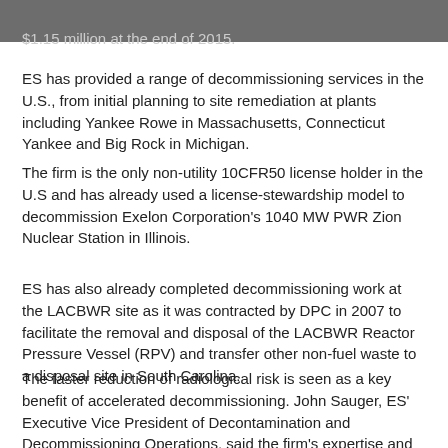$1.15 million at the end of 2015.
ES has provided a range of decommissioning services in the U.S., from initial planning to site remediation at plants including Yankee Rowe in Massachusetts, Connecticut Yankee and Big Rock in Michigan.
The firm is the only non-utility 10CFR50 license holder in the U.S and has already used a license-stewardship model to decommission Exelon Corporation’s 1040 MW PWR Zion Nuclear Station in Illinois.
ES has also already completed decommissioning work at the LACBWR site as it was contracted by DPC in 2007 to facilitate the removal and disposal of the LACBWR Reactor Pressure Vessel (RPV) and transfer other non-fuel waste to a disposal site in South Carolina.
The faster reduction of radiological risk is seen as a key benefit of accelerated decommissioning. John Sauger, ES’ Executive Vice President of Decontamination and Decommissioning Operations, said the firm’s expertise and experience as a licensee provides operators “with cost and schedule certainty.”